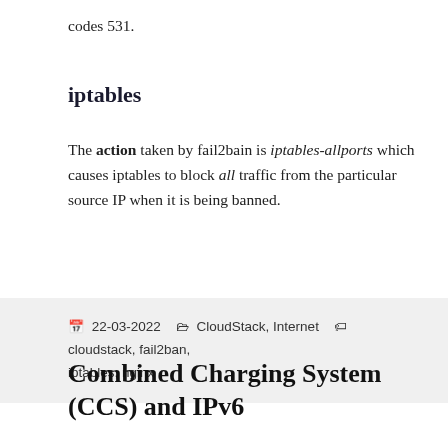codes 531.
iptables
The action taken by fail2bain is iptables-allports which causes iptables to block all traffic from the particular source IP when it is being banned.
22-03-2022   CloudStack, Internet   cloudstack, fail2ban, iptables, nginx
Combined Charging System (CCS) and IPv6
When we talk about IP protocols and IPv6 in this